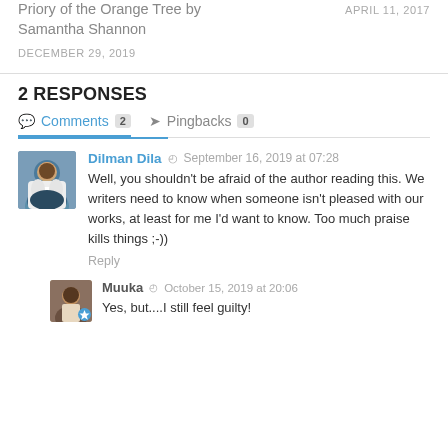Priory of the Orange Tree by Samantha Shannon
APRIL 11, 2017
DECEMBER 29, 2019
2 RESPONSES
Comments 2   Pingbacks 0
Dilman Dila   September 16, 2019 at 07:28
Well, you shouldn't be afraid of the author reading this. We writers need to know when someone isn't pleased with our works, at least for me I'd want to know. Too much praise kills things ;-))
Reply
Muuka   October 15, 2019 at 20:06
Yes, but....I still feel guilty!